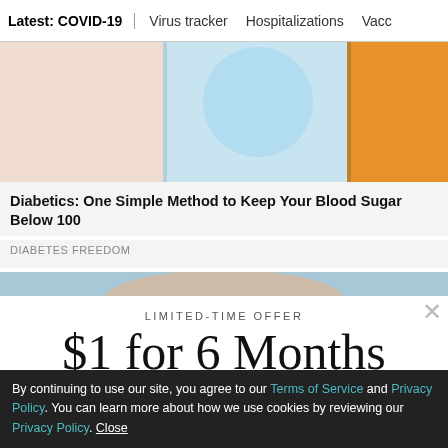Latest: COVID-19 | Virus tracker | Hospitalizations | Vacci
[Figure (photo): Advertisement image with light pink, blue, and orange segments]
Diabetics: One Simple Method to Keep Your Blood Sugar Below 100
DIABETES FREEDOM
[Figure (photo): Next article image strip, partial view]
LIMITED-TIME OFFER
$1 for 6 Months
SUBSCRIBE NOW
By continuing to use our site, you agree to our Terms of Service and Privacy Policy. You can learn more about how we use cookies by reviewing our Privacy Policy. Close